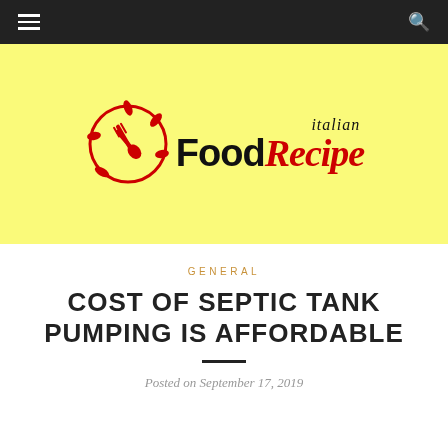Navigation bar with hamburger menu and search icon
[Figure (logo): Italian Food Recipe logo: red circular emblem with fork and spoon, beside black 'Food' and red italic 'Recipe' text with 'italian' in italic above]
GENERAL
COST OF SEPTIC TANK PUMPING IS AFFORDABLE
Posted on September 17, 2019